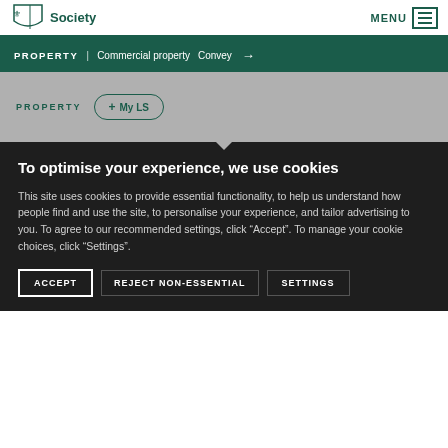Law Society | MENU
PROPERTY | Commercial property | Convey →
PROPERTY + My LS
To optimise your experience, we use cookies
This site uses cookies to provide essential functionality, to help us understand how people find and use the site, to personalise your experience, and tailor advertising to you. To agree to our recommended settings, click "Accept". To manage your cookie choices, click "Settings".
ACCEPT | REJECT NON-ESSENTIAL | SETTINGS